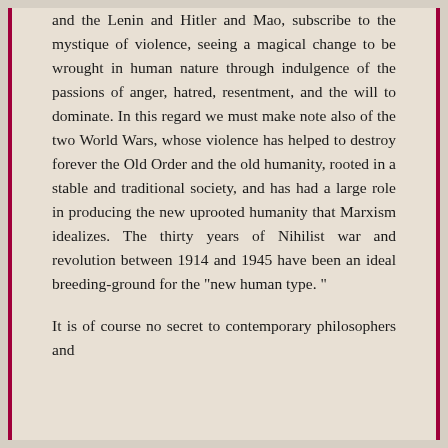and the Lenin and Hitler and Mao, subscribe to the mystique of violence, seeing a magical change to be wrought in human nature through indulgence of the passions of anger, hatred, resentment, and the will to dominate. In this regard we must make note also of the two World Wars, whose violence has helped to destroy forever the Old Order and the old humanity, rooted in a stable and traditional society, and has had a large role in producing the new uprooted humanity that Marxism idealizes. The thirty years of Nihilist war and revolution between 1914 and 1945 have been an ideal breeding-ground for the "new human type. "
It is of course no secret to contemporary philosophers and